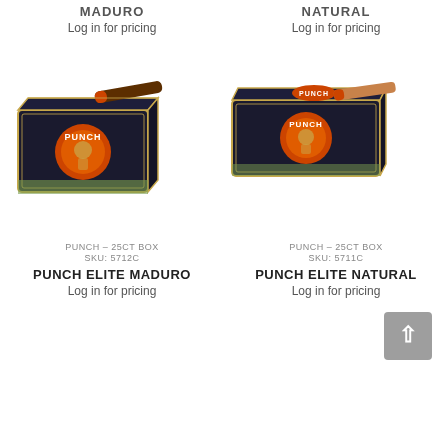MADURO
Log in for pricing
NATURAL
Log in for pricing
[Figure (photo): Punch cigar box - Maduro 25ct, dark navy box with Punch logo and a dark-wrapped cigar resting on top]
[Figure (photo): Punch cigar box - Natural 25ct, dark navy box with Punch logo and a light-wrapped cigar resting on top]
PUNCH – 25CT BOX
SKU: 5712C
PUNCH – 25CT BOX
SKU: 5711C
PUNCH ELITE MADURO
Log in for pricing
PUNCH ELITE NATURAL
Log in for pricing